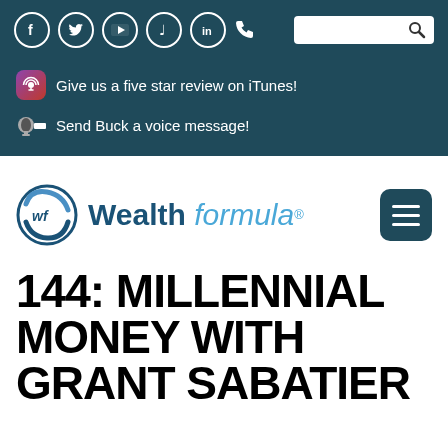Social icons: Facebook, Twitter, YouTube, Music, LinkedIn, Phone | Search bar
Give us a five star review on iTunes!
Send Buck a voice message!
[Figure (logo): Wealth Formula logo with circular wf emblem, text reading Wealth formula with registered trademark symbol]
144: MILLENNIAL MONEY WITH GRANT SABATIER